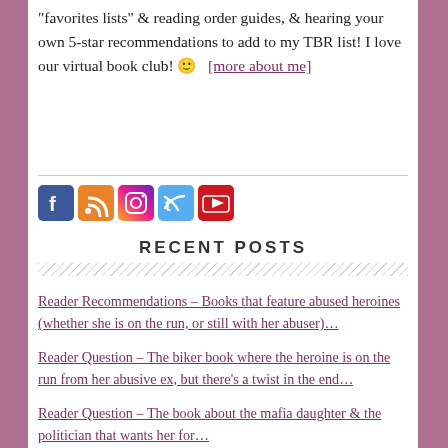"favorites lists" & reading order guides, & hearing your own 5-star recommendations to add to my TBR list! I love our virtual book club! 😊   [more about me]
[Figure (other): Social media icons: Facebook, RSS feed, Instagram, Twitter, YouTube]
RECENT POSTS
Reader Recommendations – Books that feature abused heroines (whether she is on the run, or still with her abuser)…
Reader Question – The biker book where the heroine is on the run from her abusive ex, but there's a twist in the end…
Reader Question – The book about the mafia daughter & the politician that wants her for…